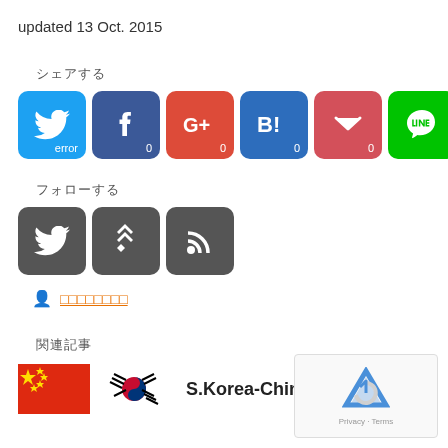updated 13 Oct. 2015
シェアする
[Figure (infographic): Social share buttons: Twitter (error), Facebook (0), Google+ (0), Hatena Bookmark (0), Pocket (0), LINE]
フォローする
[Figure (infographic): Follow buttons: Twitter, Feedly, RSS]
著者プロフィール
関連記事
[Figure (infographic): S.Korea-China related article with flags of China and South Korea]